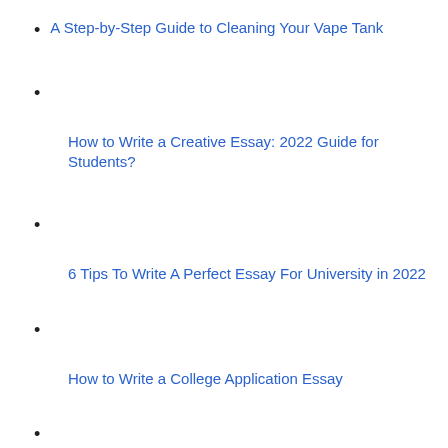A Step-by-Step Guide to Cleaning Your Vape Tank
How to Write a Creative Essay: 2022 Guide for Students?
6 Tips To Write A Perfect Essay For University in 2022
How to Write a College Application Essay